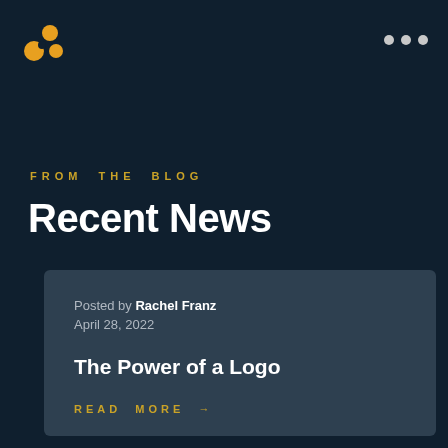Logo and navigation dots
FROM THE BLOG
Recent News
Posted by Rachel Franz
April 28, 2022
The Power of a Logo
READ MORE →